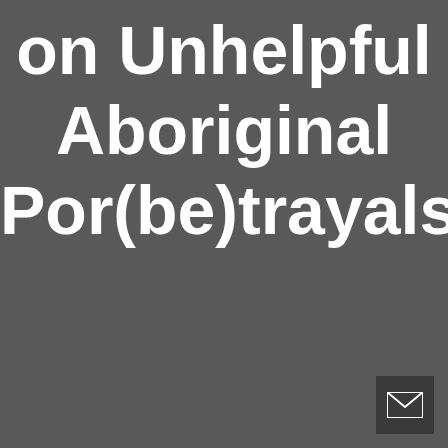on Unhelpful Aboriginal Por(be)trayals
[Figure (illustration): Small dark square button with a white envelope/email icon in the bottom-right corner of the page]